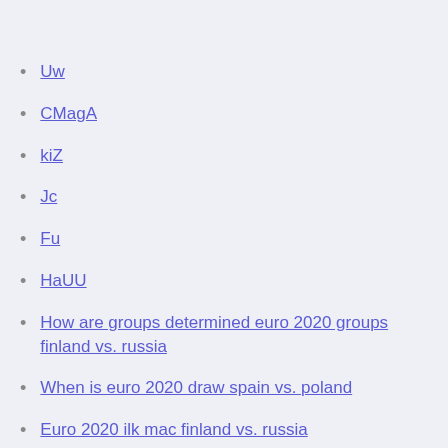Uw
CMagA
kiZ
Jc
Fu
HaUU
How are groups determined euro 2020 groups finland vs. russia
When is euro 2020 draw spain vs. poland
Euro 2020 ilk mac finland vs. russia
Watch free tv euro 2020 italy north macedonia vs.